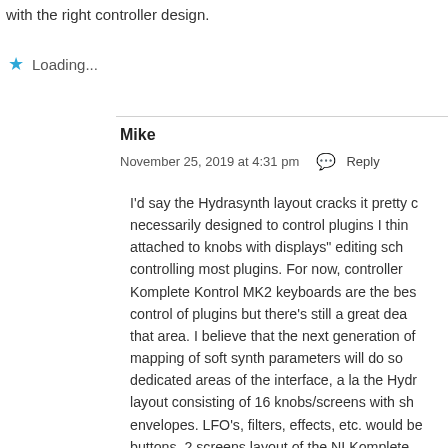with the right controller design.
Loading...
Mike
November 25, 2019 at 4:31 pm  Reply
I'd say the Hydrasynth layout cracks it pretty necessarily designed to control plugins I thin attached to knobs with displays" editing sch controlling most plugins. For now, controller Komplete Kontrol MK2 keyboards are the bes control of plugins but there's still a great dea that area. I believe that the next generation of mapping of soft synth parameters will do so dedicated areas of the interface, a la the Hydr layout consisting of 16 knobs/screens with sh envelopes. LFO's, filters, effects, etc. would be buttons, 2 screens layout of the NI Komplete